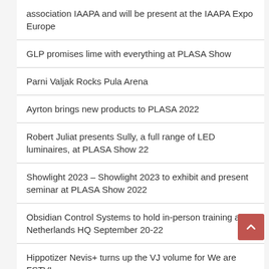association IAAPA and will be present at the IAAPA Expo Europe
GLP promises lime with everything at PLASA Show
Parni Valjak Rocks Pula Arena
Ayrton brings new products to PLASA 2022
Robert Juliat presents Sully, a full range of LED luminaires, at PLASA Show 22
Showlight 2023 – Showlight 2023 to exhibit and present seminar at PLASA Show 2022
Obsidian Control Systems to hold in-person training at Netherlands HQ September 20-22
Hippotizer Nevis+ turns up the VJ volume for We are FSTVL
Gateway and CHAUVET Professional Help Matt Guminski